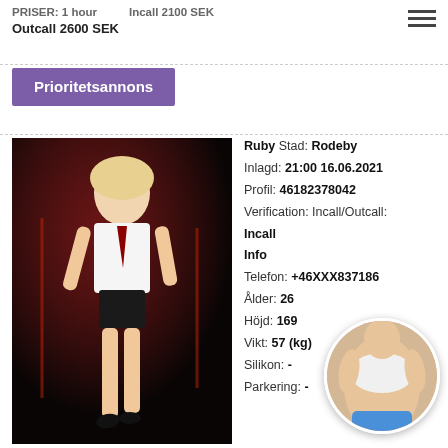PRISER: 1 hour Incall 2100 SEK Outcall 2600 SEK
Prioritetsannons
[Figure (photo): Blonde woman in white shirt and black shorts posing near a pole in a dark red-lit room]
Ruby Stad: Rodeby Inlagd: 21:00 16.06.2021 Profil: 46182378042 Verification: Incall/Outcall: Incall Info Telefon: +46XXX837186 Ålder: 26 Höjd: 169 Vikt: 57 (kg) Silikon: - Parkering: -
[Figure (photo): Circular thumbnail photo of a woman]